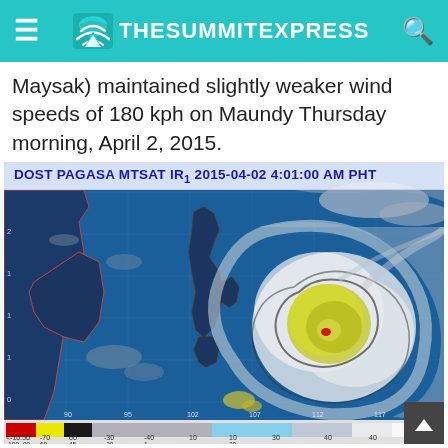TheSummitExpress
Maysak) maintained slightly weaker wind speeds of 180 kph on Maundy Thursday morning, April 2, 2015.
[Figure (photo): DOST PAGASA MTSAT IR1 satellite image dated 2015-04-02 4:01:00 AM PHT showing Typhoon Maysak as a swirling storm system with a yellow and red marked eye over the western Pacific Ocean near the Philippines. The image includes a color scale bar at the bottom.]